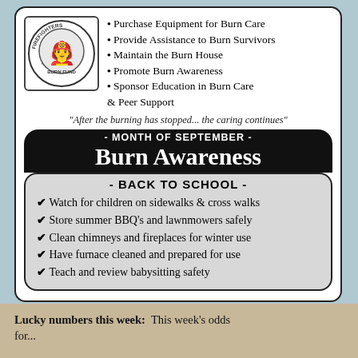[Figure (logo): Firefighters Burn Fund Victoria BC circular logo with firefighter figure]
Purchase Equipment for Burn Care
Provide Assistance to Burn Survivors
Maintain the Burn House
Promote Burn Awareness
Sponsor Education in Burn Care & Peer Support
"After the burning has stopped... the caring continues"
- MONTH OF SEPTEMBER - Burn Awareness
- BACK TO SCHOOL -
Watch for children on sidewalks & cross walks
Store summer BBQ's and lawnmowers safely
Clean chimneys and fireplaces for winter use
Have furnace cleaned and prepared for use
Teach and review babysitting safety
Lucky numbers this week: This week's odds for...